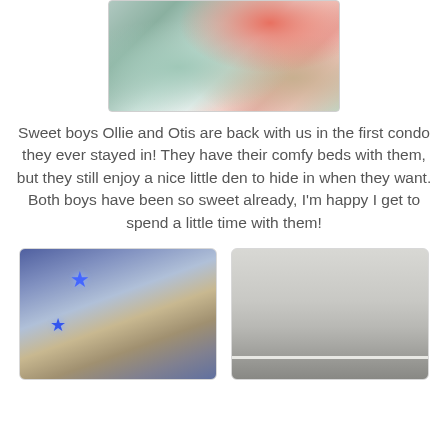[Figure (photo): Close-up photo of fluffy pet beds with colorful fabric, showing green, red and white textured materials]
Sweet boys Ollie and Otis are back with us in the first condo they ever stayed in! They have their comfy beds with them, but they still enjoy a nice little den to hide in when they want. Both boys have been so sweet already, I'm happy I get to spend a little time with them!
[Figure (photo): Photo of a ceiling with hanging blue star string lights and industrial ceiling tiles]
[Figure (photo): Photo of a plain beige/gray room ceiling and wall corner]